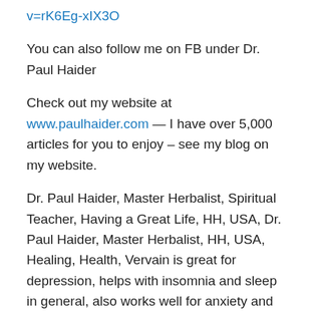v=rK6Eg-xIX3O
You can also follow me on FB under Dr. Paul Haider
Check out my website at www.paulhaider.com — I have over 5,000 articles for you to enjoy – see my blog on my website.
Dr. Paul Haider, Master Herbalist, Spiritual Teacher, Having a Great Life, HH, USA, Dr. Paul Haider, Master Herbalist, HH, USA, Healing, Health, Vervain is great for depression, helps with insomnia and sleep in general, also works well for anxiety and stress and also nervous tension, It helps the body to create serotonin and dopamine, so you can feel good again, and enjoy a great nights rest, Amazing for stomachaches, stress induced stomach issues, gas, bloating, and cramps, liver and kidney damage, asthma, bronchitis, headaches,